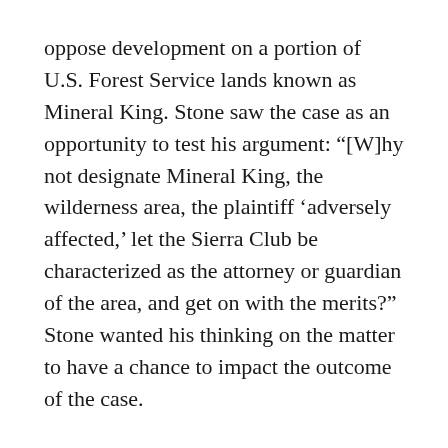oppose development on a portion of U.S. Forest Service lands known as Mineral King. Stone saw the case as an opportunity to test his argument: “[W]hy not designate Mineral King, the wilderness area, the plaintiff ‘adversely affected,’ let the Sierra Club be characterized as the attorney or guardian of the area, and get on with the merits?” Stone wanted his thinking on the matter to have a chance to impact the outcome of the case.
The timeline was tight. However, Stone connected with the editor of the Southern California Law Review, which happened to have an upcoming issue in which the preface was scheduled to be written by one of the Supreme